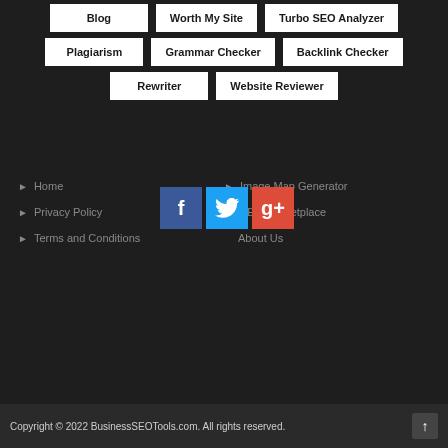Blog
Worth My Site
Turbo SEO Analyzer
Plagiarism
Grammar Checker
Backlink Checker
Rewriter
Website Reviewer
Home
Image Map Generator
Privacy Policy
SEO Marketplace
Terms and Conditions
About Us
[Figure (logo): Social media icons: Facebook (blue), Twitter (light blue), Google+ (red)]
Copyright © 2022 BusinessSEOTools.com. All rights reserved.